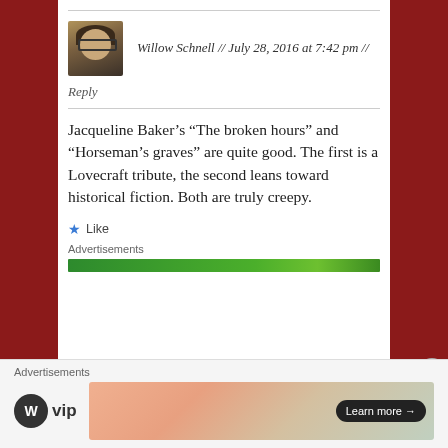Willow Schnell // July 28, 2016 at 7:42 pm //
Reply
Jacqueline Baker’s “The broken hours” and “Horseman’s graves” are quite good. The first is a Lovecraft tribute, the second leans toward historical fiction. Both are truly creepy.
★ Like
Advertisements
Advertisements